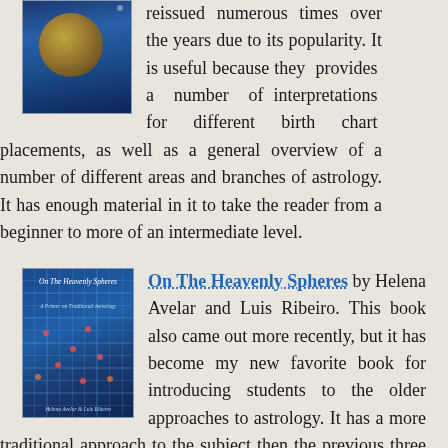[Figure (illustration): Book cover with dark blue background featuring a circular gold/yellow medallion design with astrological symbols]
reissued numerous times over the years due to its popularity. It is useful because they provides a number of interpretations for different birth chart placements, as well as a general overview of a number of different areas and branches of astrology. It has enough material in it to take the reader from a beginner to more of an intermediate level.
[Figure (illustration): Book cover of 'On The Heavenly Spheres' by Helena Avelar and Luis Ribeiro, dark blue with grid pattern and small dot markers]
On The Heavenly Spheres by Helena Avelar and Luis Ribeiro. This book also came out more recently, but it has become my new favorite book for introducing students to the older approaches to astrology. It has a more traditional approach to the subject then the previous three books do, although it does incorporate some modern concepts as well. It is also very well-illustrated